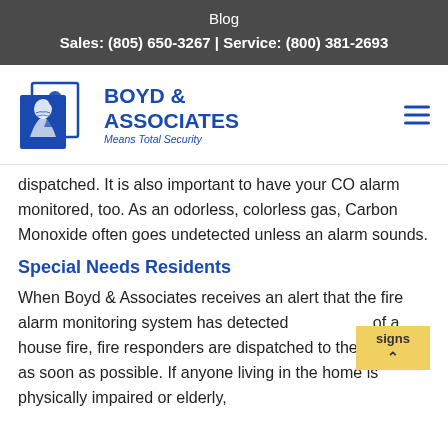Blog
Sales: (805) 650-3267 | Service: (800) 381-2693
[Figure (logo): Boyd & Associates logo with two overlapping profile silhouette cards and text 'BOYD & ASSOCIATES Means Total Security' in blue]
dispatched. It is also important to have your CO alarm monitored, too. As an odorless, colorless gas, Carbon Monoxide often goes undetected unless an alarm sounds.
Special Needs Residents
When Boyd & Associates receives an alert that the fire alarm monitoring system has detected signs of a house fire, fire responders are dispatched to the location as soon as possible. If anyone living in the home is physically impaired or elderly,